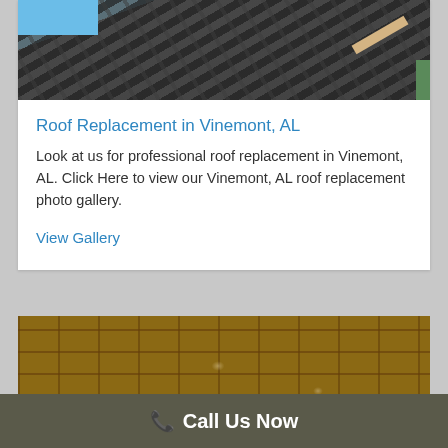[Figure (photo): Close-up photo of dark slate roofing tiles being replaced, with a blue sky visible and a green gutter on the right side]
Roof Replacement in Vinemont, AL
Look at us for professional roof replacement in Vinemont, AL. Click Here to view our Vinemont, AL roof replacement photo gallery.
View Gallery
[Figure (photo): Close-up photo of brown asphalt shingles on a roof, with chalk markings visible on the shingles]
Call Us Now